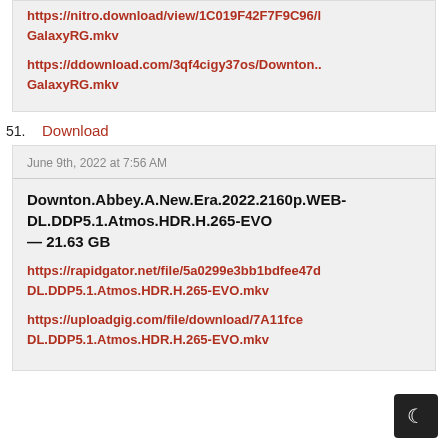https://nitro.download/view/1C019F42F7F9C96/... GalaxyRG.mkv
https://ddownload.com/3qf4cigy37os/Downton...GalaxyRG.mkv
51. Download
June 9th, 2022 at 7:56 AM
Downton.Abbey.A.New.Era.2022.2160p.WEB-DL.DDP5.1.Atmos.HDR.H.265-EVO — 21.63 GB
https://rapidgator.net/file/5a0299e3bb1bdfee47d...DL.DDP5.1.Atmos.HDR.H.265-EVO.mkv
https://uploadgig.com/file/download/7A11fce...DL.DDP5.1.Atmos.HDR.H.265-EVO.mkv